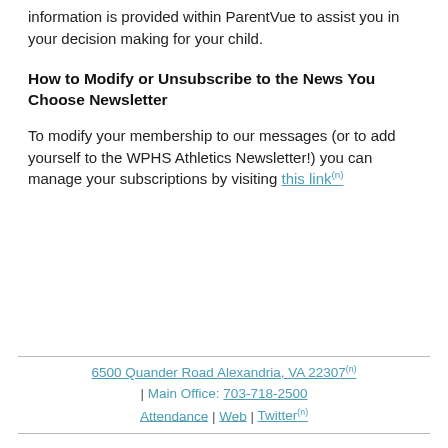information is provided within ParentVue to assist you in your decision making for your child.
How to Modify or Unsubscribe to the News You Choose Newsletter
To modify your membership to our messages (or to add yourself to the WPHS Athletics Newsletter!) you can manage your subscriptions by visiting this link
6500 Quander Road Alexandria, VA 22307 | Main Office: 703-718-2500 Attendance | Web | Twitter